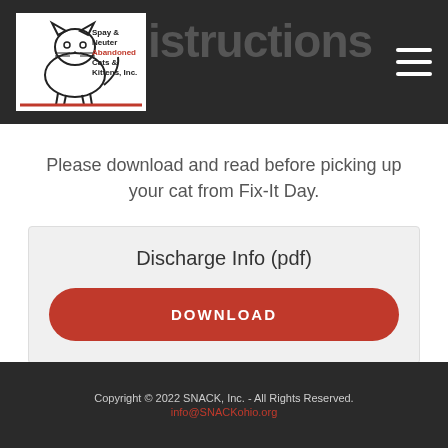Spay & Neuter Abandoned Cats & Kittens, Inc. — Instructions
Please download and read before picking up your cat from Fix-It Day.
Discharge Info (pdf)
DOWNLOAD
Copyright © 2022 SNACK, Inc. - All Rights Reserved. info@SNACKohio.org